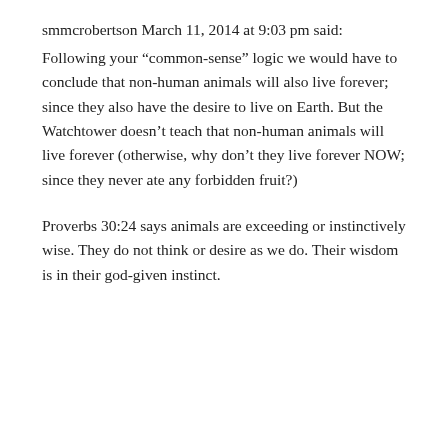smmcrobertson March 11, 2014 at 9:03 pm said:
Following your “common-sense” logic we would have to conclude that non-human animals will also live forever; since they also have the desire to live on Earth. But the Watchtower doesn’t teach that non-human animals will live forever (otherwise, why don’t they live forever NOW; since they never ate any forbidden fruit?)
Proverbs 30:24 says animals are exceeding or instinctively wise. They do not think or desire as we do. Their wisdom is in their god-given instinct.